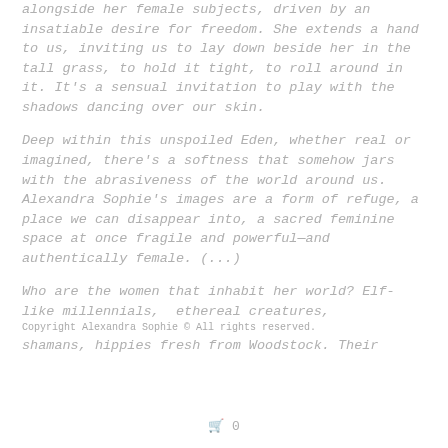alongside her female subjects, driven by an insatiable desire for freedom. She extends a hand to us, inviting us to lay down beside her in the tall grass, to hold it tight, to roll around in it. It’s a sensual invitation to play with the shadows dancing over our skin.
Deep within this unspoiled Eden, whether real or imagined, there’s a softness that somehow jars with the abrasiveness of the world around us. Alexandra Sophie’s images are a form of refuge, a place we can disappear into, a sacred feminine space at once fragile and powerful—and authentically female. (...)
Who are the women that inhabit her world? Elf-like millennials, ethereal creatures, shamans, hippies fresh from Woodstock. Their
Copyright Alexandra Sophie © All rights reserved.
🛒 0